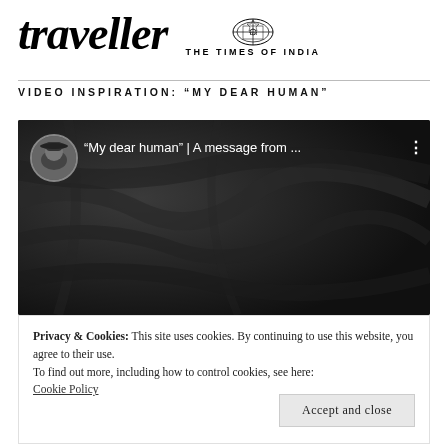traveller | THE TIMES OF INDIA
VIDEO INSPIRATION: “MY DEAR HUMAN”
[Figure (screenshot): Screenshot of a YouTube video embed showing a black and white thumbnail with a woman in a hat. Title reads: “My dear human” | A message from ... with a three-dot menu icon.]
Privacy & Cookies: This site uses cookies. By continuing to use this website, you agree to their use.
To find out more, including how to control cookies, see here: Cookie Policy
Accept and close